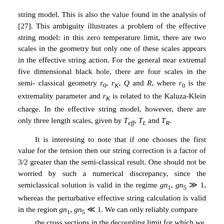string model. This is also the value found in the analysis of [27]. This ambiguity illustrates a problem of the effective string model: in this zero temperature limit, there are two scales in the geometry but only one of these scales appears in the effective string action. For the general near extremal five dimensional black hole, there are four scales in the semi-classical geometry r_0, r_K, Q and R, where r_0 is the extremality parameter and r_K is related to the Kaluza-Klein charge. In the effective string model, however, there are only three length scales, given by T_eff, T_L and T_R.
It is interesting to note that if one chooses the first value for the tension then our string correction is a factor of 3/2 greater than the semi-classical result. One should not be worried by such a numerical discrepancy, since the semiclassical solution is valid in the regime gn_1, gn_5 >> 1, whereas the perturbative effective string calculation is valid in the region gn_1, gn_5 << 1. We can only reliably compare the cross sections in the decoupling limit for which we